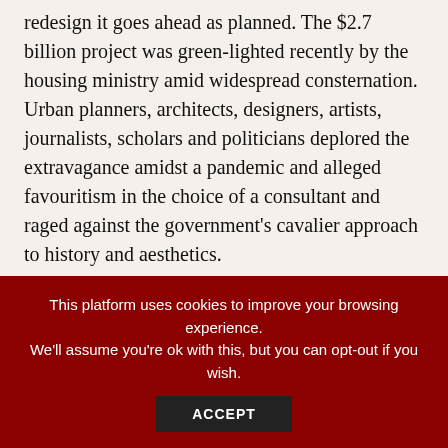redesign it goes ahead as planned. The $2.7 billion project was green-lighted recently by the housing ministry amid widespread consternation. Urban planners, architects, designers, artists, journalists, scholars and politicians deplored the extravagance amidst a pandemic and alleged favouritism in the choice of a consultant and raged against the government's cavalier approach to history and aesthetics.
The liberal intelligentsia does not trust Narendra Modi. The mistrust can be traced back to 2002 when mass attacks killed over a thousand Muslims in the western state of Gujarat where Modi, a member of the militant Hindu Rashtriya Swayamsevak Sangh (RSS), was chief
This platform uses cookies to improve your browsing experience. We'll assume you're ok with this, but you can opt-out if you wish.
ACCEPT